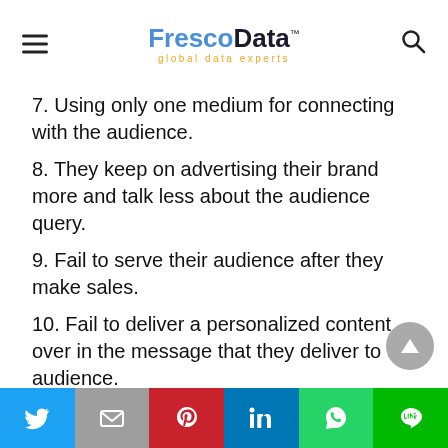FrescoData global data experts
7. Using only one medium for connecting with the audience.
8. They keep on advertising their brand more and talk less about the audience query.
9. Fail to serve their audience after they make sales.
10. Fail to deliver a personalized content over in the message that they deliver to the audience.
The aforementioned mistakes are the basic ones. We would advise marketeers to
Twitter | Email | Pinterest | LinkedIn | WhatsApp | Line